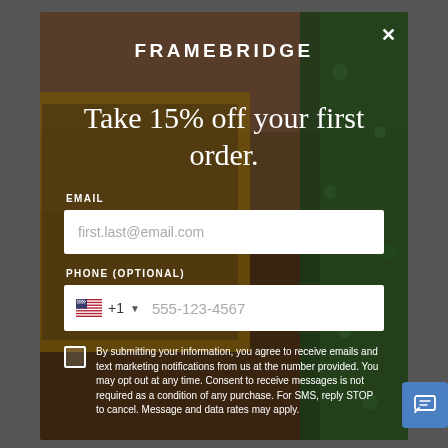[Figure (screenshot): Framebridge website popup modal with background photo of framed artwork and decorative items on a wooden surface. Shows email signup form offering 15% off first order.]
FRAMEBRIDGE
Take 15% off your first order.
EMAIL
first.last@email.com
PHONE (OPTIONAL)
+1  555-123-4567
By submitting your information, you agree to receive emails and text marketing notifications from us at the number provided. You may opt out at any time. Consent to receive messages is not required as a condition of any purchase. For SMS, reply STOP to cancel. Message and data rates may apply.